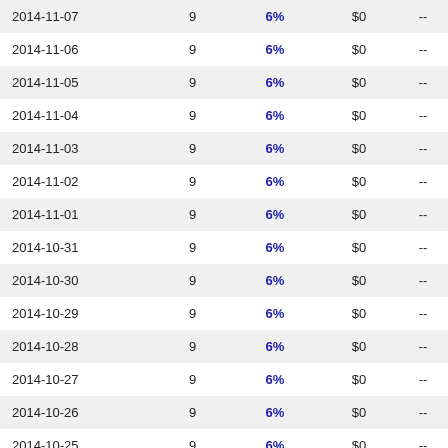| 2014-11-07 | 9 | 6% | $0 | -- |
| 2014-11-06 | 9 | 6% | $0 | -- |
| 2014-11-05 | 9 | 6% | $0 | -- |
| 2014-11-04 | 9 | 6% | $0 | -- |
| 2014-11-03 | 9 | 6% | $0 | -- |
| 2014-11-02 | 9 | 6% | $0 | -- |
| 2014-11-01 | 9 | 6% | $0 | -- |
| 2014-10-31 | 9 | 6% | $0 | -- |
| 2014-10-30 | 9 | 6% | $0 | -- |
| 2014-10-29 | 9 | 6% | $0 | -- |
| 2014-10-28 | 9 | 6% | $0 | -- |
| 2014-10-27 | 9 | 6% | $0 | -- |
| 2014-10-26 | 9 | 6% | $0 | -- |
| 2014-10-25 | 9 | 6% | $0 | -- |
| 2014-10-24 | 9 | 6% | $0 | -- |
| 2014-10-23 | 9 | 6% | $0 | -- |